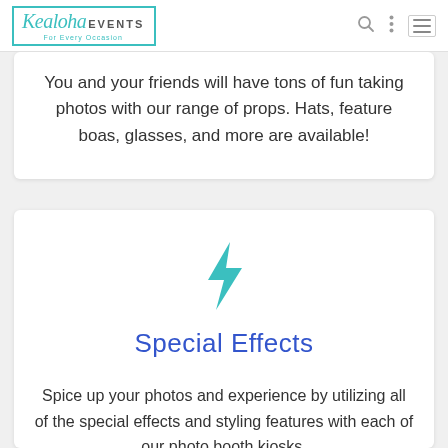Kealoha events For Every Occasion
You and your friends will have tons of fun taking photos with our range of props. Hats, feature boas, glasses, and more are available!
[Figure (illustration): Teal lightning bolt icon]
Special Effects
Spice up your photos and experience by utilizing all of the special effects and styling features with each of our photo booth kiosks.